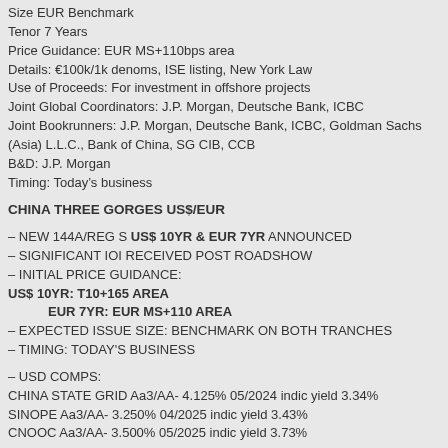Size  EUR Benchmark
Tenor  7 Years
Price Guidance: EUR MS+110bps area
Details:  €100k/1k denoms, ISE listing, New York Law
Use of Proceeds:  For investment in offshore projects
Joint Global Coordinators:  J.P. Morgan, Deutsche Bank, ICBC
Joint Bookrunners:  J.P. Morgan, Deutsche Bank, ICBC, Goldman Sachs (Asia) L.L.C., Bank of China, SG CIB, CCB
B&D:   J.P. Morgan
Timing: Today's business
CHINA THREE GORGES US$/EUR
– NEW 144A/REG S US$ 10YR & EUR 7YR ANNOUNCED
– SIGNIFICANT IOI RECEIVED POST ROADSHOW
– INITIAL PRICE GUIDANCE:
US$ 10YR:  T10+165 AREA
EUR 7YR:   EUR MS+110 AREA
– EXPECTED ISSUE SIZE: BENCHMARK ON BOTH TRANCHES
– TIMING: TODAY'S BUSINESS
– USD COMPS:
CHINA STATE GRID  Aa3/AA-  4.125%  05/2024    indic yield 3.34%
SINOPE  Aa3/AA-  3.250%  04/2025    indic yield 3.43%
CNOOC   Aa3/AA-  3.500%  05/2025   indic yield 3.73%